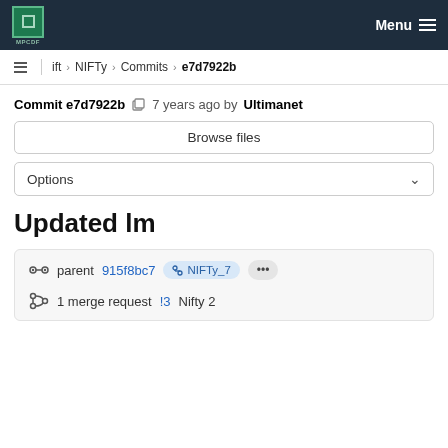MPCDF Menu
ift › NIFTy › Commits › e7d7922b
Commit e7d7922b  7 years ago by Ultimanet
Browse files
Options
Updated lm
parent 915f8bc7  NIFTy_7  ...
1 merge request !3 Nifty 2